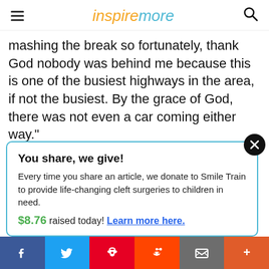inspiremore
mashing the break so fortunately, thank God nobody was behind me because this is one of the busiest highways in the area, if not the busiest. By the grace of God, there was not even a car coming either way."
After checking to make sure that the baby
You share, we give! Every time you share an article, we donate to Smile Train to provide life-changing cleft surgeries to children in need. $8.76 raised today! Learn more here.
Facebook, Twitter, Pinterest, Reddit, Email, More